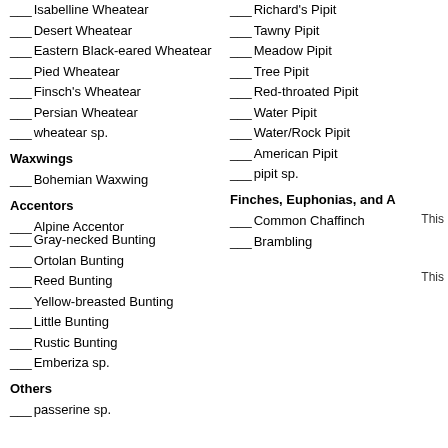Isabelline Wheatear
Desert Wheatear
Eastern Black-eared Wheatear
Pied Wheatear
Finsch's Wheatear
Persian Wheatear
wheatear sp.
Waxwings
Bohemian Waxwing
Accentors
Alpine Accentor
Richard's Pipit
Tawny Pipit
Meadow Pipit
Tree Pipit
Red-throated Pipit
Water Pipit
Water/Rock Pipit
American Pipit
pipit sp.
Finches, Euphonias, and A
Common Chaffinch
Brambling
This
Gray-necked Bunting
Ortolan Bunting
Reed Bunting
Yellow-breasted Bunting
Little Bunting
Rustic Bunting
Emberiza sp.
Others
passerine sp.
This